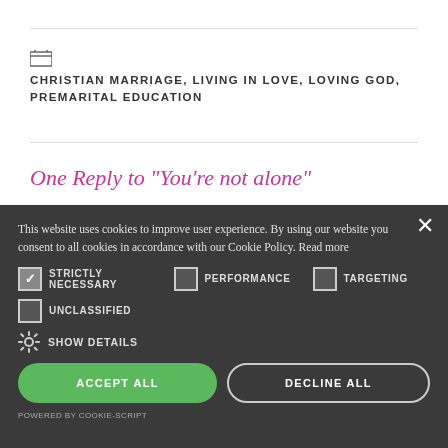CHRISTIAN MARRIAGE, LIVING IN LOVE, LOVING GOD, PREMARITAL EDUCATION
One Reply to “You’re not alone”
This website uses cookies to improve user experience. By using our website you consent to all cookies in accordance with our Cookie Policy. Read more
STRICTLY NECESSARY  PERFORMANCE  TARGETING  UNCLASSIFIED
SHOW DETAILS
ACCEPT ALL  DECLINE ALL
POWERED BY COOKIE-SCRIPT